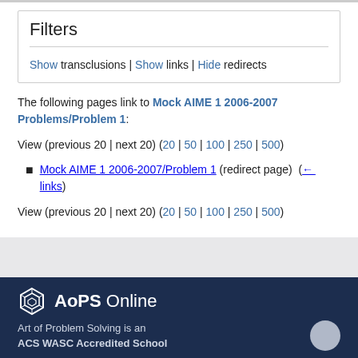Filters
Show transclusions | Show links | Hide redirects
The following pages link to Mock AIME 1 2006-2007 Problems/Problem 1:
View (previous 20 | next 20) (20 | 50 | 100 | 250 | 500)
Mock AIME 1 2006-2007/Problem 1 (redirect page)  (← links)
View (previous 20 | next 20) (20 | 50 | 100 | 250 | 500)
AoPS Online
Art of Problem Solving is an ACS WASC Accredited School